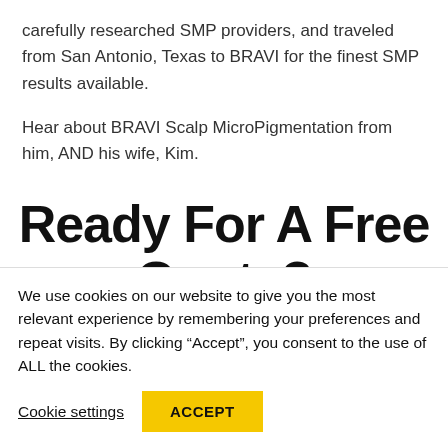carefully researched SMP providers, and traveled from San Antonio, Texas to BRAVI for the finest SMP results available.
Hear about BRAVI Scalp MicroPigmentation from him, AND his wife, Kim.
Ready For A Free Quote?
Is Scalp MicroPigmentation the right
We use cookies on our website to give you the most relevant experience by remembering your preferences and repeat visits. By clicking “Accept”, you consent to the use of ALL the cookies.
Cookie settings  ACCEPT